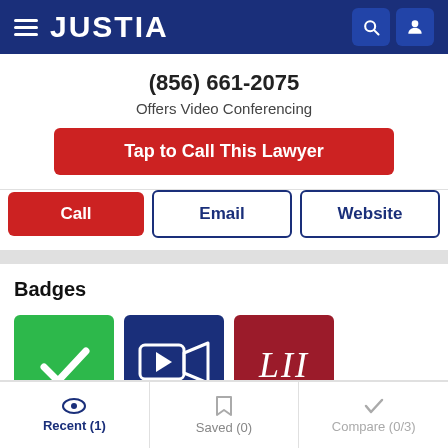JUSTIA
(856) 661-2075
Offers Video Conferencing
Tap to Call This Lawyer
Call
Email
Website
Badges
[Figure (logo): Green checkmark badge]
[Figure (logo): Blue video camera badge]
[Figure (logo): Red LII badge]
Recent (1)
Saved (0)
Compare (0/3)